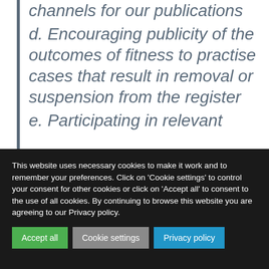channels for our publications
d. Encouraging publicity of the outcomes of fitness to practise cases that result in removal or suspension from the register
e. Participating in relevant
This website uses necessary cookies to make it work and to remember your preferences. Click on 'Cookie settings' to control your consent for other cookies or click on 'Accept all' to consent to the use of all cookies. By continuing to browse this website you are agreeing to our Privacy policy.